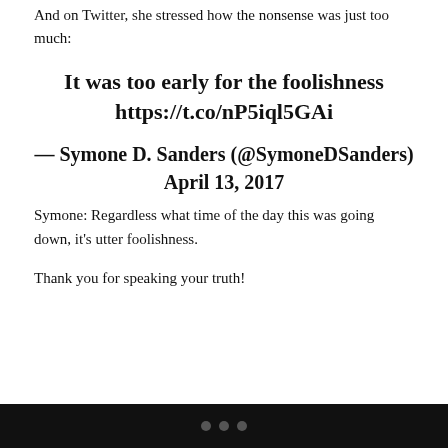And on Twitter, she stressed how the nonsense was just too much:
It was too early for the foolishness https://t.co/nP5iql5GAi
— Symone D. Sanders (@SymoneDSanders) April 13, 2017
Symone: Regardless what time of the day this was going down, it's utter foolishness.
Thank you for speaking your truth!